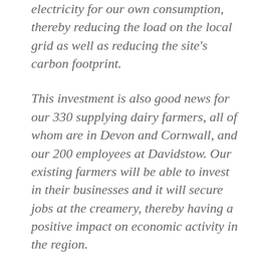electricity for our own consumption, thereby reducing the load on the local grid as well as reducing the site's carbon footprint.
This investment is also good news for our 330 supplying dairy farmers, all of whom are in Devon and Cornwall, and our 200 employees at Davidstow. Our existing farmers will be able to invest in their businesses and it will secure jobs at the creamery, thereby having a positive impact on economic activity in the region.
Please find enclosed an invitation to a public consultation regarding our intention to submit an application for planning permission for